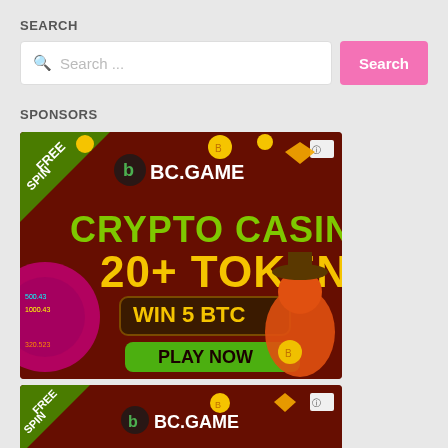SEARCH
Search ...
SPONSORS
[Figure (screenshot): BC.GAME crypto casino advertisement banner with text: FREE SPIN, BC.GAME logo, CRYPTO CASINO 20+ TOKEN, WIN 5 BTC, PLAY NOW button, and a cartoon alligator character.]
[Figure (screenshot): BC.GAME crypto casino advertisement banner partial, showing FREE SPIN and BC.GAME logo at top.]